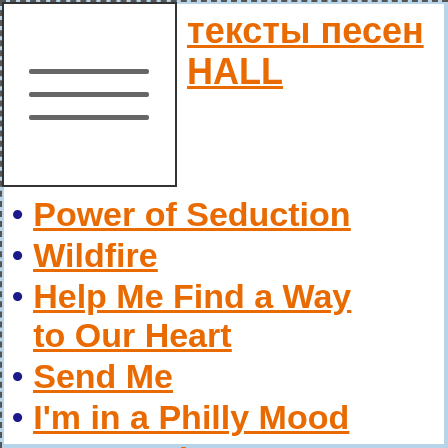тексты песен HALL
[Figure (other): Hamburger menu icon with three horizontal grey lines on white background]
Power of Seduction
Wildfire
Help Me Find a Way to Our Heart
Send Me
I'm in a Philly Mood
Stop Loving Me, Stop Loving You